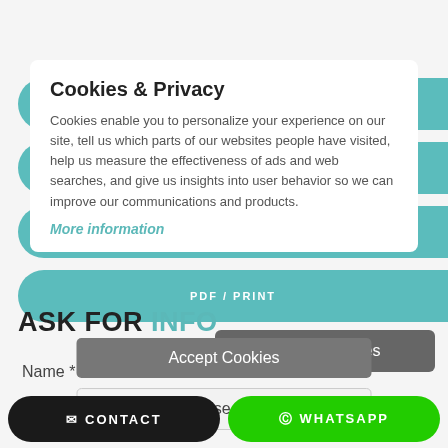Cookies & Privacy
Cookies enable you to personalize your experience on our site, tell us which parts of our websites people have visited, help us measure the effectiveness of ads and web searches, and give us insights into user behavior so we can improve our communications and products.
More information
[Figure (screenshot): Teal rounded button: CONTACT USING WHATSAPP]
[Figure (screenshot): Teal rounded button: FAVORITES]
[Figure (screenshot): Teal rounded button: SEND TO A FRIEND]
[Figure (screenshot): Teal rounded button: PDF / PRINT]
Accept Cookies
ASK FOR INFO
Customise Cookies
Name *
CONTACT   WHATSAPP